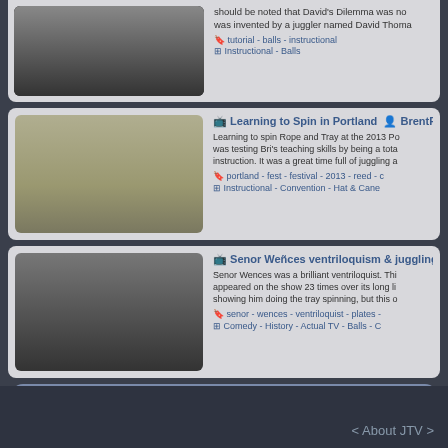[Figure (screenshot): Partial top card showing juggling tutorial video listing. Text: 'should be noted that David's Dilemma was no... was invented by a juggler named David Thoma...' Tags: tutorial - balls - instructional. Category: Instructional - Balls]
[Figure (photo): Video thumbnail showing person juggling in a gym/dance studio with chairs in background]
Learning to Spin in Portland  BrentF... Learning to spin Rope and Tray at the 2013 Po... was testing Bri's teaching skills by being a tota... instruction. It was a great time full of juggling a...
portland - fest - festival - 2013 - reed - c...
Instructional - Convention - Hat & Cane...
[Figure (photo): Black and white video thumbnail showing performer on stage with curtain backdrop]
Senor Weñces ventriloquism & juggling... Senor Wences was a brilliant ventriloquist. Thi... appeared on the show 23 times over its long li... showing him doing the tray spinning, but this o...
senor - wences - ventriloquist - plates - ...
Comedy - History - Actual TV - Balls - C...
< About JTV >